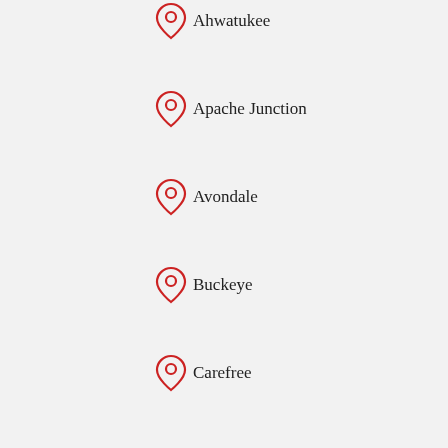Ahwatukee
Apache Junction
Avondale
Buckeye
Carefree
Casa Grande
Cave Creek
Chandler
Fountain Hills
Gilbert
Glendale